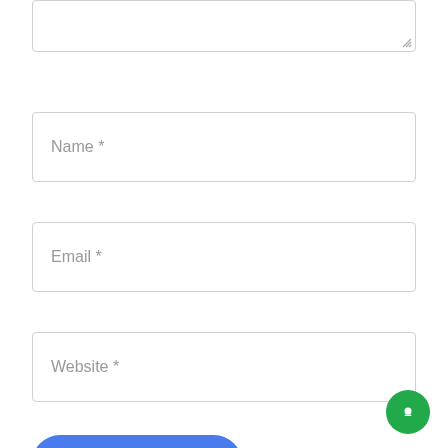[Figure (screenshot): Top portion of a textarea input box with a resize handle in the bottom-right corner]
Name *
Email *
Website *
Post Comment
This site uses Akismet to reduce spam. Learn how your comment data is processed.